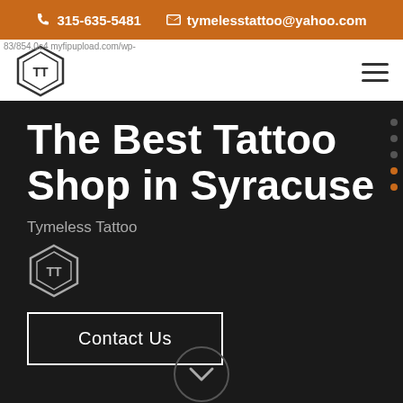315-635-5481  tymelesstattoo@yahoo.com
[Figure (logo): TT hexagon logo in navigation bar]
The Best Tattoo Shop in Syracuse
Tymeless Tattoo
[Figure (logo): TT hexagon logo in hero section]
Contact Us